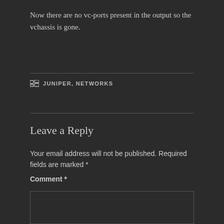Now there are no vc-ports present in the output so the vchassis is gone.
JUNIPER, NETWORKS
Leave a Reply
Your email address will not be published. Required fields are marked *
Comment *